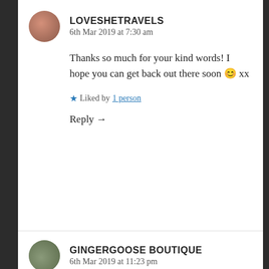LOVESHETRAVELS
6th Mar 2019 at 7:30 am

Thanks so much for your kind words! I hope you can get back out there soon 😊 xx

★ Liked by 1person

Reply →
GINGERGOOSE BOUTIQUE
6th Mar 2019 at 11:23 pm

This is such an insightful post! I've traveled solo for work but haven't for pleasure yet. I